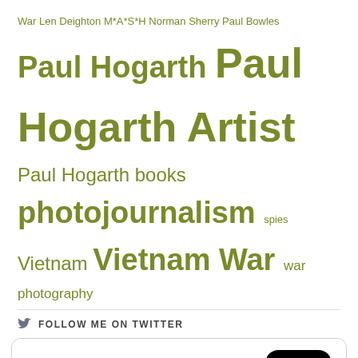War Len Deighton M*A*S*H Norman Sherry Paul Bowles Paul Hogarth Paul Hogarth Artist Paul Hogarth books photojournalism spies Vietnam Vietnam War war photography
FOLLOW ME ON TWITTER
[Figure (screenshot): Twitter widget showing tweets from @retroculturati with a Follow button, and a retweeted post by @John_ichi_ about Donald Byrd - Byrd in Paris with hashtags #jazz #jazzgiants #trumpet, with a partial album image preview.]